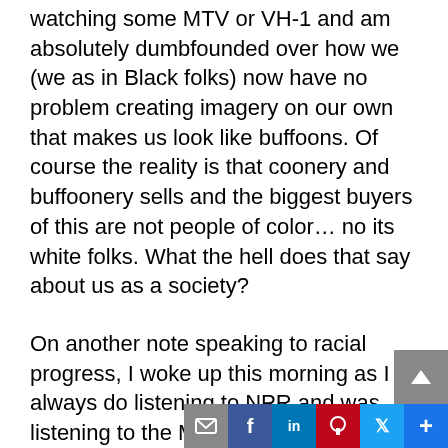watching some MTV or VH-1 and am absolutely dumbfounded over how we (we as in Black folks) now have no problem creating imagery on our own that makes us look like buffoons. Of course the reality is that coonery and buffoonery sells and the biggest buyers of this are not people of color… no its white folks. What the hell does that say about us as a society?
On another note speaking to racial progress, I woke up this morning as I always do listening to NPR and was listening to the Monday report on the election season and heard a rather interesting tidbit. Seems that there is still questions on whether or not Barack Obama can close the deal with working class whites and actually get them to vote for him. The report